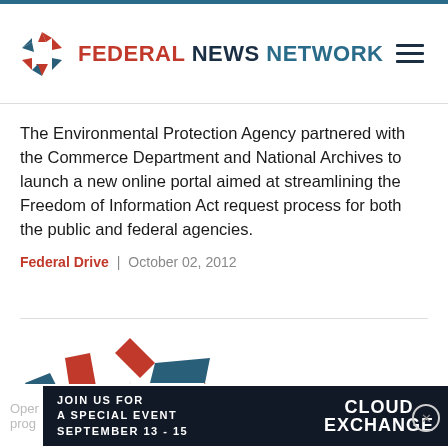Federal News Network
The Environmental Protection Agency partnered with the Commerce Department and National Archives to launch a new online portal aimed at streamlining the Freedom of Information Act request process for both the public and federal agencies.
Federal Drive | October 02, 2012
[Figure (logo): Federal News Network large star logo in red and dark teal/blue colors]
JOIN US FOR A SPECIAL EVENT SEPTEMBER 13 - 15   CLOUD EXCHANGE